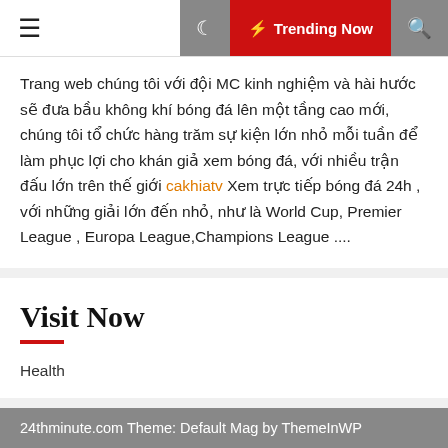☰  🌙  ⚡ Trending Now  🔍
Trang web chúng tôi với đội MC kinh nghiệm và hài hước sẽ đưa bầu không khí bóng đá lên một tầng cao mới, chúng tôi tổ chức hàng trăm sự kiện lớn nhỏ mỗi tuần để làm phục lợi cho khán giả xem bóng đá, với nhiều trận đấu lớn trên thế giới cakhiatv Xem trực tiếp bóng đá 24h , với những giải lớn đến nhỏ, như là World Cup, Premier League , Europa League,Champions League ....
Visit Now
Health
24thminute.com Theme: Default Mag by ThemeInWP
ity Loan
ings to Know
How a CBD Pillow Mist Spray Enhances Sleep – Bid Adieu to...